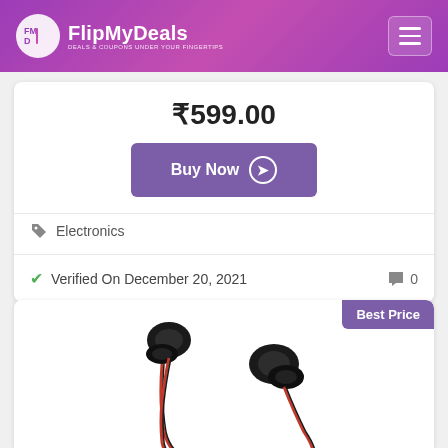FlipMyDeals - DEALS & COUPONS UNDER YOUR FINGERTIPS
₹599.00
Buy Now →
Electronics
Verified On December 20, 2021
0
Best Price
[Figure (photo): Black and red in-ear earphones/earbuds with wire]